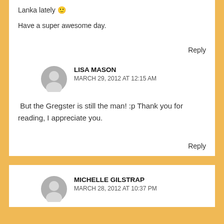Lanka lately 🙂
Have a super awesome day.
Reply
LISA MASON
MARCH 29, 2012 AT 12:15 AM
But the Gregster is still the man! :p Thank you for reading, I appreciate you.
Reply
MICHELLE GILSTRAP
MARCH 28, 2012 AT 10:37 PM